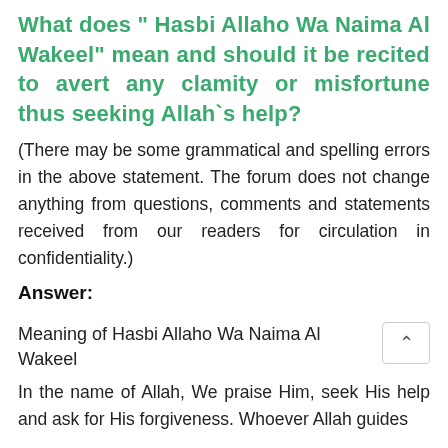What does " Hasbi Allaho Wa Naima Al Wakeel" mean and should it be recited to avert any clamity or misfortune thus seeking Allah`s help?
(There may be some grammatical and spelling errors in the above statement. The forum does not change anything from questions, comments and statements received from our readers for circulation in confidentiality.)
Answer:
Meaning of Hasbi Allaho Wa Naima Al Wakeel
In the name of Allah, We praise Him, seek His help and ask for His forgiveness. Whoever Allah guides